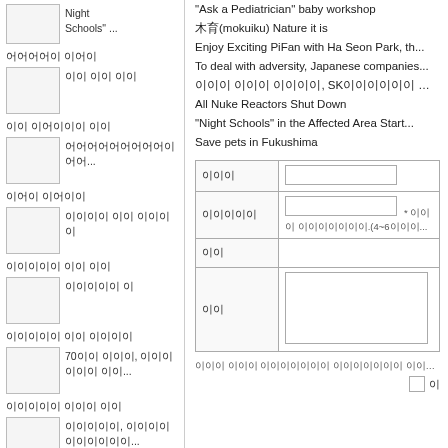Night Schools" ...
에 이 자 이 이
에어어어어어어어어어어어어...
어어이 어이 어어어
어어어어 이
70어 어어, 어어어어어 이이...
이어어이, 어어이 이어어어...
"Ask a Pediatrician" baby workshop
木育(mokuiku) Nature it is
Enjoy Exciting PiFan with Ha Seon Park, th...
To deal with adversity, Japanese companies...
어어 어어이 이이이, SK어어이어 이이 이이?
All Nuke Reactors Shut Down
"Night Schools" in the Affected Area Start...
Save pets in Fukushima
| 어어이 |  | 어어어이이 |  | 이이 |  | 이이 |  |
| --- | --- | --- | --- | --- | --- | --- | --- |
| 어어이 |  |
| 어어어이이 | * 어어이 이어어이이이.(4~6어이이... |
| 이이 |  |
| 이이 |  |